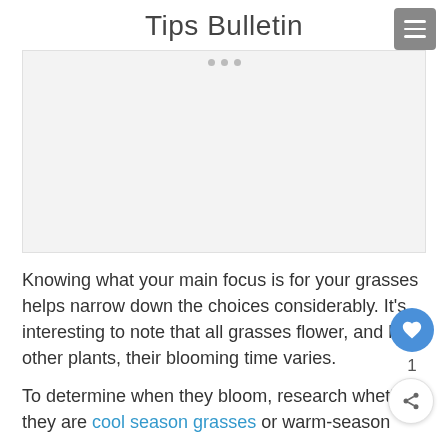Tips Bulletin
[Figure (other): Advertisement placeholder box with three small dots at top center, light gray background]
Knowing what your main focus is for your grasses helps narrow down the choices considerably. It's interesting to note that all grasses flower, and like other plants, their blooming time varies.
To determine when they bloom, research whether they are cool season grasses or warm-season